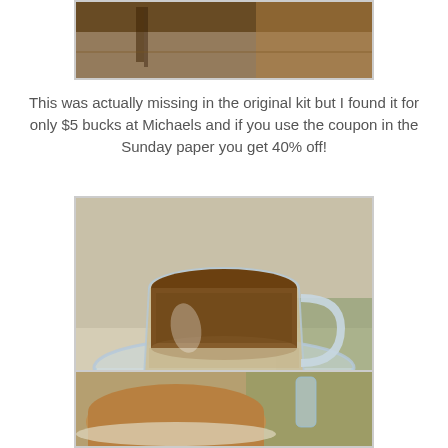[Figure (photo): Partial photo at top of page, appears to show an animal or craft object on a wooden surface, cropped]
This was actually missing in the original kit but I found it for only $5 bucks at Michaels and if you use the coupon in the Sunday paper you get 40% off!
[Figure (photo): Photo of a glass pitcher or jar filled with brown granular material (possibly soil or sand) sitting in a large glass bowl on a table with green placemat visible]
Turn upside down on the final cake plate.
[Figure (photo): Partial photo at bottom showing a cake or baked item on a plate on a table, cropped]